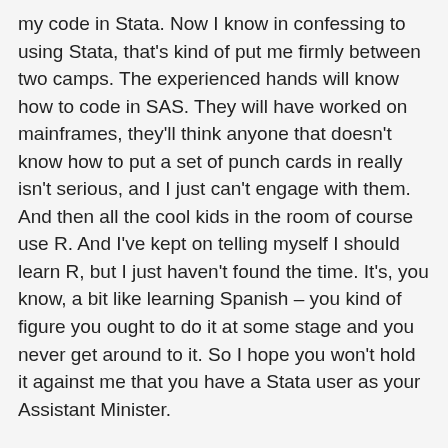my code in Stata. Now I know in confessing to using Stata, that's kind of put me firmly between two camps. The experienced hands will know how to code in SAS. They will have worked on mainframes, they'll think anyone that doesn't know how to put a set of punch cards in really isn't serious, and I just can't engage with them. And then all the cool kids in the room of course use R. And I've kept on telling myself I should learn R, but I just haven't found the time. It's, you know, a bit like learning Spanish – you kind of figure you ought to do it at some stage and you never get around to it. So I hope you won't hold it against me that you have a Stata user as your Assistant Minister.
I just wanted to wrap up where I began. I have a huge admiration for the Australian Bureau of Statistics, for the work that you do, for the integrity that you bring to that. I'm very much in the market for fresh ideas, and keen to hear your thoughts as to how the ABS can produce new metrics, things that you've traditionally done, that you think have